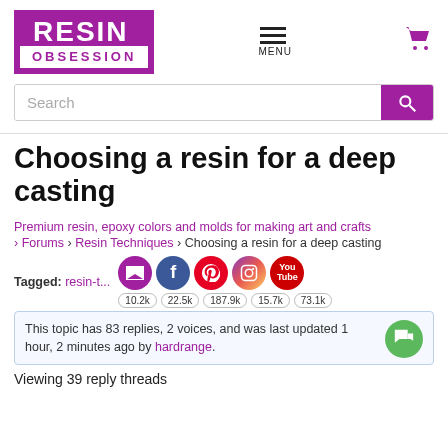[Figure (logo): Resin Obsession logo with purple border, white RESIN text on purple background and OBSESSION in purple below]
[Figure (screenshot): Hamburger menu icon and purple shopping cart icon in top right]
Search
Choosing a resin for a deep casting
Premium resin, epoxy colors and molds for making art and crafts
› Forums › Resin Techniques › Choosing a resin for a deep casting
Tagged: resin-t...
[Figure (infographic): Social sharing icons: email (purple), Facebook (blue), Pinterest (red), Instagram (purple-pink), YouTube (red), with share counts: 10.2k, 22.5k, 187.9k, 15.7k, 73.1k]
This topic has 83 replies, 2 voices, and was last updated 1 hour, 2 minutes ago by hardrange.
Viewing 39 reply threads